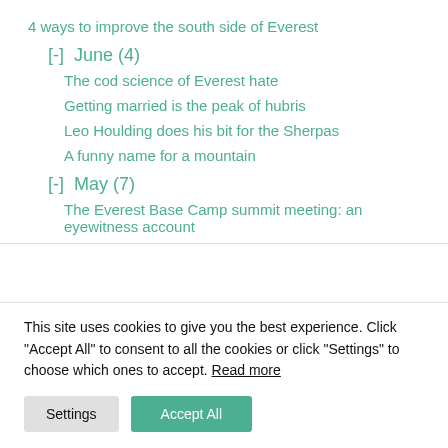4 ways to improve the south side of Everest
[-]  June (4)
The cod science of Everest hate
Getting married is the peak of hubris
Leo Houlding does his bit for the Sherpas
A funny name for a mountain
[-]  May (7)
The Everest Base Camp summit meeting: an eyewitness account
This site uses cookies to give you the best experience. Click "Accept All" to consent to all the cookies or click "Settings" to choose which ones to accept. Read more